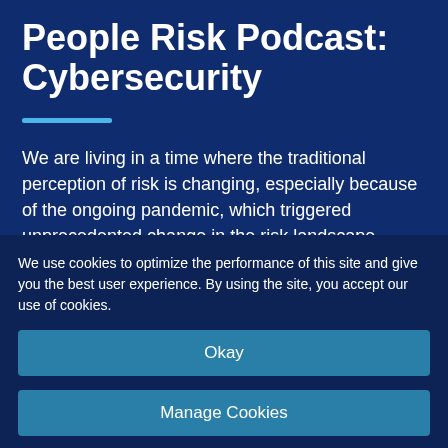People Risk Podcast: Cybersecurity
We are living in a time where the traditional perception of risk is changing, especially because of the ongoing pandemic, which triggered unprecedented change in the risk landscape.
We use cookies to optimize the performance of this site and give you the best user experience. By using the site, you accept our use of cookies.
Okay
Manage Cookies